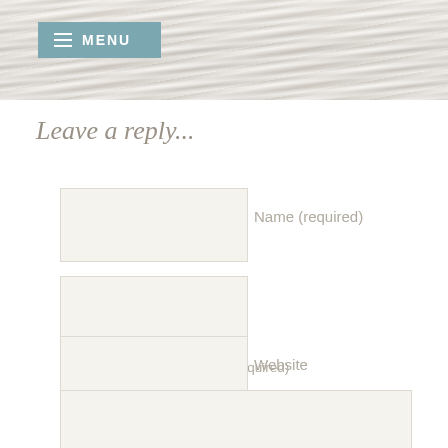[Figure (screenshot): Website header banner with distressed wood texture background and teal/blue-grey MENU button with hamburger icon on the left side]
Leave a reply...
Name (required)
Mail (will not be published) (required)
Website